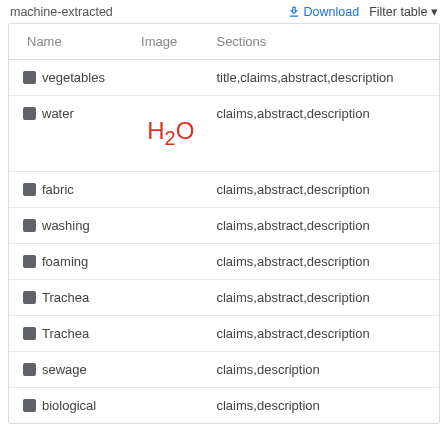machine-extracted
Download   Filter table
| Name | Image | Sections |
| --- | --- | --- |
| vegetables |  | title,claims,abstract,description |
| water | H₂O | claims,abstract,description |
| fabric |  | claims,abstract,description |
| washing |  | claims,abstract,description |
| foaming |  | claims,abstract,description |
| Trachea |  | claims,abstract,description |
| Trachea |  | claims,abstract,description |
| sewage |  | claims,description |
| biological |  | claims,description |